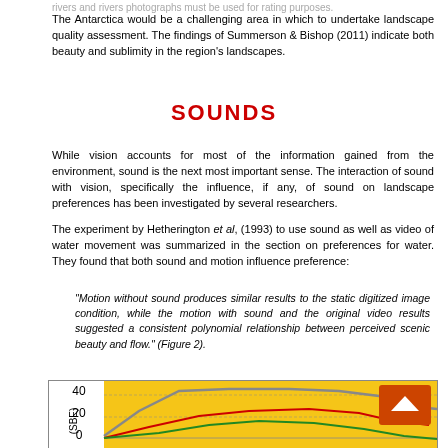The Antarctica would be a challenging area in which to undertake landscape quality assessment. The findings of Summerson & Bishop (2011) indicate both beauty and sublimity in the region's landscapes.
SOUNDS
While vision accounts for most of the information gained from the environment, sound is the next most important sense. The interaction of sound with vision, specifically the influence, if any, of sound on landscape preferences has been investigated by several researchers.
The experiment by Hetherington et al, (1993) to use sound as well as video of water movement was summarized in the section on preferences for water. They found that both sound and motion influence preference:
"Motion without sound produces similar results to the static digitized image condition, while the motion with sound and the original video results suggested a consistent polynomial relationship between perceived scenic beauty and flow." (Figure 2).
[Figure (continuous-plot): Partial view of a line chart (Figure 2) on a yellow/gold background showing SBE (y-axis) vs flow, with multiple colored lines (grey, red, green). Y-axis shows values 40, 20, 0 visible. The chart is cropped at the bottom.]